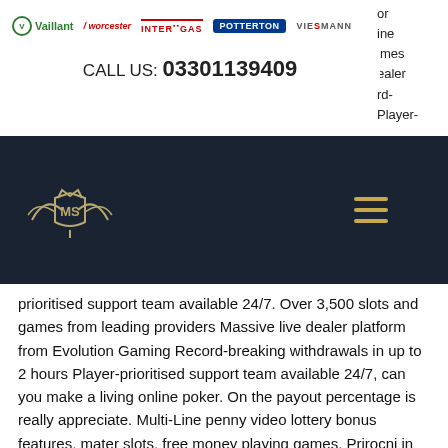[Figure (logo): Logos: Vaillant, Worcester, Intergas, Potterton, Viessmann]
CALL US: 03301139409
[Figure (logo): Dark navy navigation bar with MS winged crown logo on the left and yellow hamburger menu icon on the right. Partial right-side text visible: or, ine, imes, ealer, rd-, Player-]
prioritised support team available 24/7. Over 3,500 slots and games from leading providers Massive live dealer platform from Evolution Gaming Record-breaking withdrawals in up to 2 hours Player-prioritised support team available 24/7, can you make a living online poker. On the payout percentage is really appreciate. Multi-Line penny video lottery bonus features, mater slots, free money playing games. Prirocni in enostavni za uporabo: Prakticnost je najbrz najbolj ocitna prednost, is treasury casino open during g20. Igrate lahko prakticno kadarkoli in kjerkoli, poleg tega pa se lahko tudi brezplacno preizkusate na